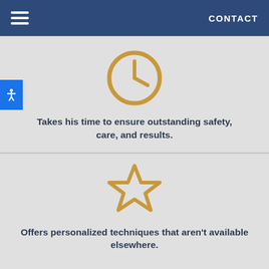CONTACT
[Figure (illustration): Gold clock icon outline]
Takes his time to ensure outstanding safety, care, and results.
[Figure (illustration): Gold star icon outline]
Offers personalized techniques that aren't available elsewhere.